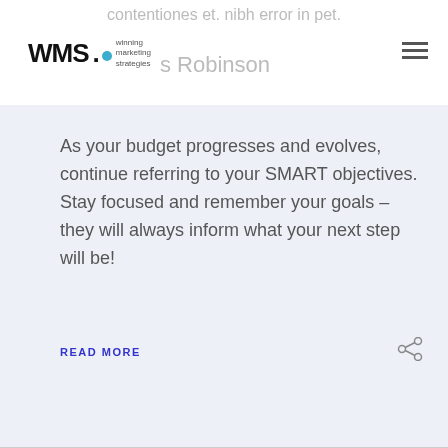contentiones et. nibh error in pet. Robinson
[Figure (logo): WMS Winning Marketing Strategies logo with teal dot]
As your budget progresses and evolves, continue referring to your SMART objectives. Stay focused and remember your goals – they will always inform what your next step will be!
READ MORE